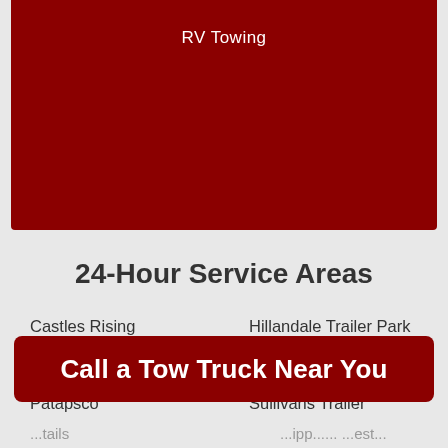[Figure (other): Dark red banner with text 'RV Towing' centered near the top]
24-Hour Service Areas
Castles Rising
Village of Peachwood
Lawndale
Patapsco
Hillandale Trailer Park
Twin Knolls
Berrywood Village
Sullivans Trailer
Call a Tow Truck Near You